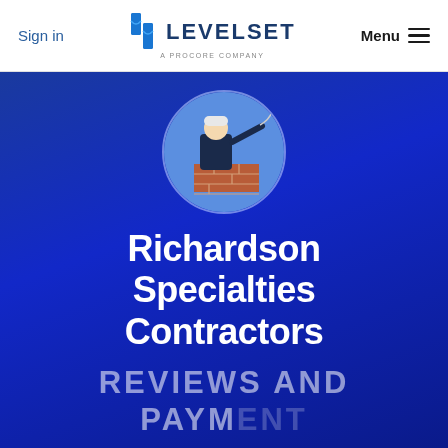Sign in   LEVELSET A PROCORE COMPANY   Menu
[Figure (photo): Circular portrait of a construction worker in dark workwear working on a brick chimney or wall against a blue sky background]
Richardson Specialties Contractors
REVIEWS AND PAYMENT